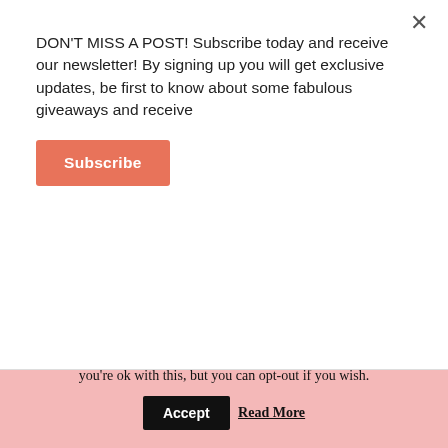DON'T MISS A POST! Subscribe today and receive our newsletter! By signing up you will get exclusive updates, be first to know about some fabulous giveaways and receive
Subscribe
influenced in any way. As you know Shaun and I are currently in the process for looking for our first home together.  As you can imagine it is a very long... Read More
[Figure (infographic): Social sharing icons row: Pinterest, Facebook, Twitter, Google+, Email, Print]
This website uses cookies to improve your experience. We'll assume you're ok with this, but you can opt-out if you wish. Accept Read More